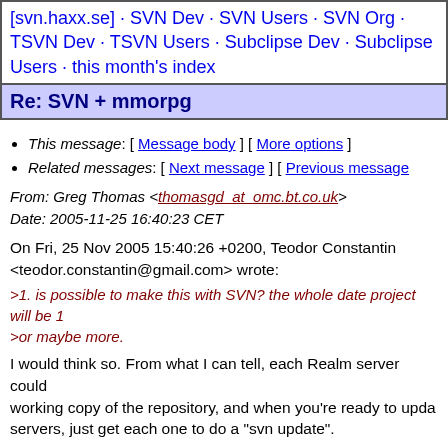[svn.haxx.se] · SVN Dev · SVN Users · SVN Org · TSVN Dev · TSVN Users · Subclipse Dev · Subclipse Users · this month's index
Re: SVN + mmorpg
This message: [ Message body ] [ More options ]
Related messages: [ Next message ] [ Previous message
From: Greg Thomas <thomasgd_at_omc.bt.co.uk>
Date: 2005-11-25 16:40:23 CET
On Fri, 25 Nov 2005 15:40:26 +0200, Teodor Constantin <teodor.constantin@gmail.com> wrote:
>1. is possible to make this with SVN? the whole date project will be 1 >or maybe more.
I would think so. From what I can tell, each Realm server could working copy of the repository, and when you're ready to upda servers, just get each one to do a "svn update".
>2. 100% problems will come, can i get any support to solve them?
If you want informal support, then the users list (cc'ed - where